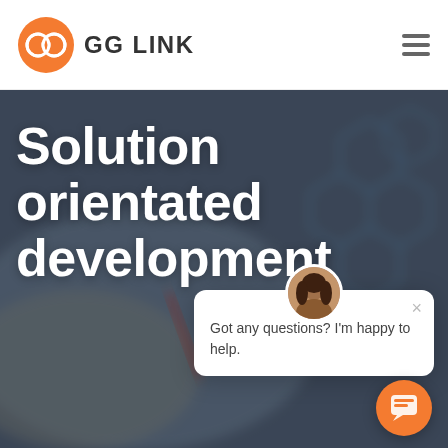GG LINK
[Figure (screenshot): Hero section of GG LINK website with blurred background showing hands and hexagonal tech graphics]
Solution orientated development
Got any questions? I'm happy to help.